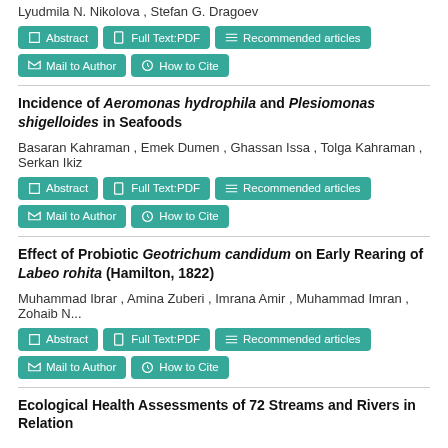Lyudmila N. Nikolova , Stefan G. Dragoev
Abstract | Full Text:PDF | Recommended articles | Mail to Author | How to Cite
Incidence of Aeromonas hydrophila and Plesiomonas shigelloides in Seafoods
Basaran Kahraman , Emek Dumen , Ghassan Issa , Tolga Kahraman , Serkan Ikiz
Abstract | Full Text:PDF | Recommended articles | Mail to Author | How to Cite
Effect of Probiotic Geotrichum candidum on Early Rearing of Labeo rohita (Hamilton, 1822)
Muhammad Ibrar , Amina Zuberi , Imrana Amir , Muhammad Imran , Zohaib N...
Abstract | Full Text:PDF | Recommended articles | Mail to Author | How to Cite
Ecological Health Assessments of 72 Streams and Rivers in Relation